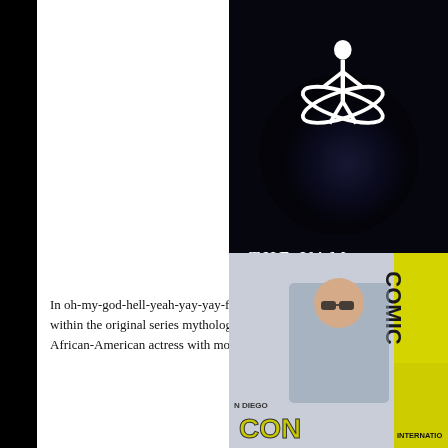[Figure (photo): Buffy the Vampire Slayer title card on dark background with stylized 'B' logo and text 'THE VAM' visible (partial)]
In oh-my-god-hell-yeah-yay-yay-fucking-yay news Joss W within the original series mythology. However the reboot African-American actress with more contemporary story
[Figure (photo): Comic-Con International San Diego panel photo, partial view showing person at panel desk with Comic-Con signage visible]